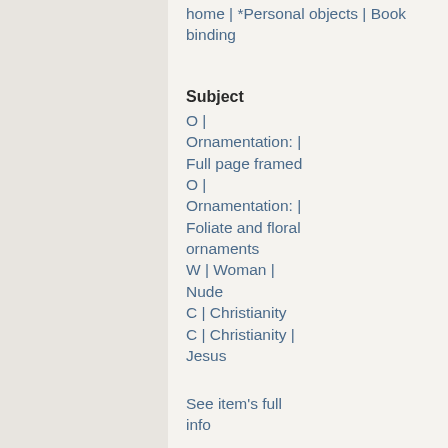home | *Personal objects | Book binding
Subject
O | Ornamentation: | Full page framed O | Ornamentation: | Foliate and floral ornaments W | Woman | Nude C | Christianity C | Christianity | Jesus
See item's full info